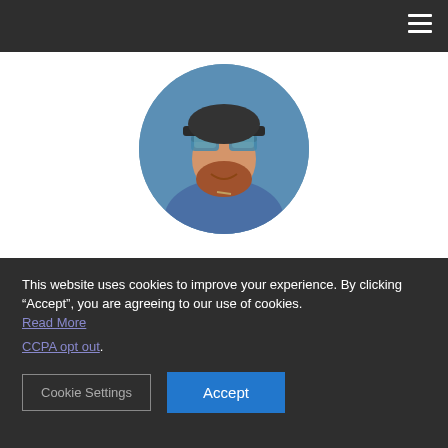[Figure (photo): Circular profile photo of a man with a red beard wearing reflective goggles/sunglasses and a denim jacket, with a blue background]
[Figure (infographic): Social media icons row: LinkedIn, Twitter, Email]
Sam Sprigg
This website uses cookies to improve your experience. By clicking “Accept”, you are agreeing to our use of cookies. Read More CCPA opt out.
Cookie Settings  Accept